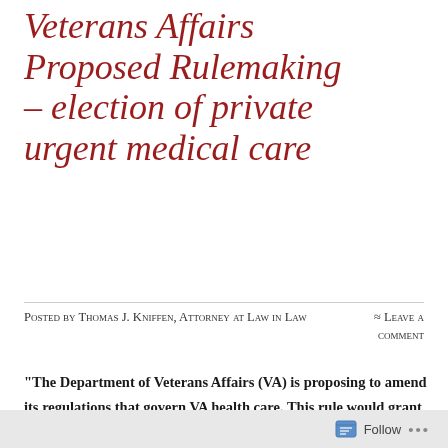Veterans Affairs Proposed Rulemaking – election of private urgent medical care
Posted by Thomas J. Kniffen, Attorney at Law in Law
≈ Leave a comment
“The Department of Veterans Affairs (VA) is proposing to amend its regulations that govern VA health care. This rule would grant eligible veterans access to urgent care from qualifying non-VA entities or providers without prior approval from VA. This rulemaking would implement the mandates of the VA MISSION Act of 2018 and increase veterans’ access to health care in the community.”